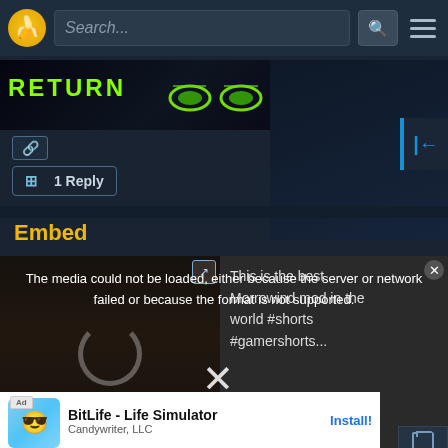[Figure (screenshot): App header bar with banana logo, search field, search button, and hamburger menu]
[Figure (screenshot): Banner image showing 'RETURN' text in green pixel font with glowing eyes graphic on dark background]
[Figure (screenshot): Link/chain icon button]
[Figure (screenshot): Blue left-arrow navigation button]
⊞ 1 Reply
Embed
[Figure (screenshot): Embedded video player showing a loading/error state with a room background and spinning circle. Right side shows YouTube video info: 'This is the best Morrowind mod in the world #shorts #gamershorts...']
The media could not be loaded, either because the server or network failed or because the format is not supported.
https://gamebanana.com/polls/embeddables/2498?type
HTML e
BitLife - Life Simulator
Candywriter, LLC
Install!